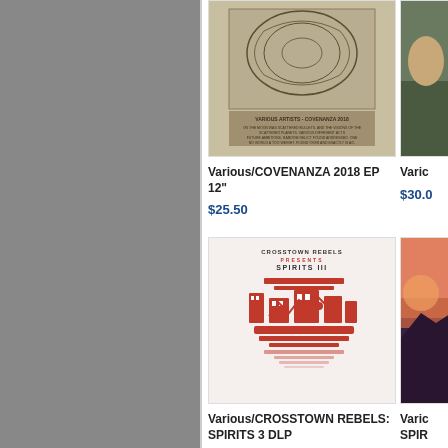[Figure (screenshot): Gray sidebar on left side of page]
[Figure (photo): Album cover for Various/COVENANZA 2018 EP 12 - beige/tan cover with line drawing and text]
Various/COVENANZA 2018 EP 12"
$25.50
[Figure (photo): Partially visible album or product image on right - person in outdoor setting]
Varic
$30.0
[Figure (photo): Album cover for Various/CROSSTOWN REBELS: SPIRITS 3 DLP - red and white artwork showing mechanical/urban imagery with CROSSTOWN REBELS PRESENTS SPIRITS III text]
Various/CROSSTOWN REBELS: SPIRITS 3 DLP
$30.00
[Figure (photo): Partially visible album cover on right - sunset/dusk landscape]
Varic
SPIR
$30.0